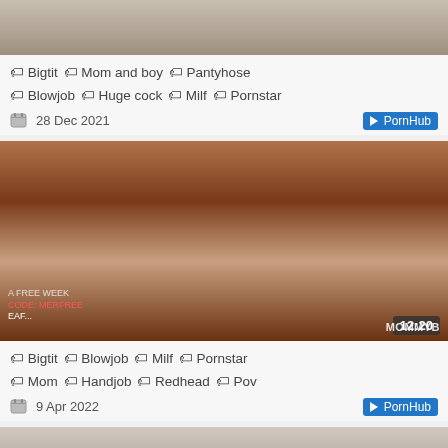[Figure (screenshot): Partial video thumbnail at top (cropped), showing legs/lower body]
🏷 Bigtit 🏷 Mom and boy 🏷 Pantyhose 🏷 Blowjob 🏷 Huge cock 🏷 Milf 🏷 Pornstar
28 Dec 2021  ▶ PornHub
[Figure (screenshot): Video thumbnail showing redhead woman, duration 12:20, MOMMYB watermark]
🏷 Bigtit 🏷 Blowjob 🏷 Milf 🏷 Pornstar 🏷 Mom 🏷 Handjob 🏷 Redhead 🏷 Pov
9 Apr 2022  ▶ PornHub
[Figure (screenshot): Partial video thumbnail at bottom (cropped), showing two people, duration 10:11]